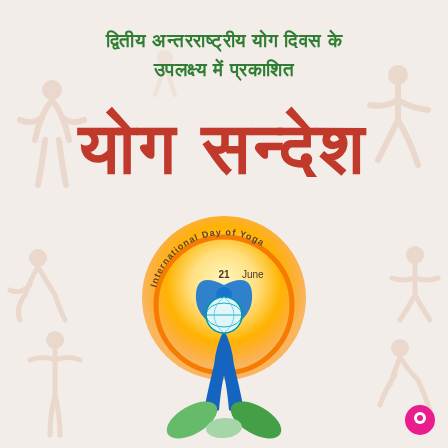द्वितीय अन्तरराष्ट्रीय योग दिवस के उपलक्ष्य में प्रकाशित
योग सन्देश
[Figure (logo): International Day of Yoga logo: a figure with arms raised forming a teardrop shape, sun rays behind, world globe, blue lotus/leaf base, text 'International Day of Yoga 21 June' curved around top]
[Figure (illustration): Faint salmon/peach colored silhouettes of people in various yoga poses arranged around the page background]